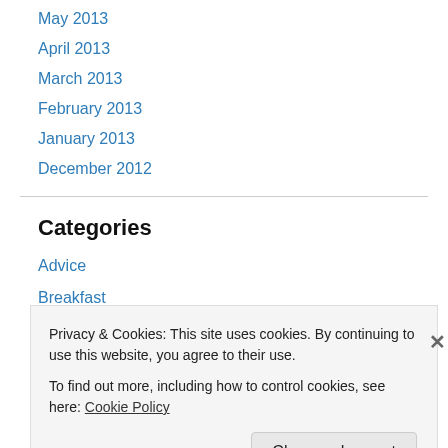May 2013
April 2013
March 2013
February 2013
January 2013
December 2012
Categories
Advice
Breakfast
Dessert
Di…
Privacy & Cookies: This site uses cookies. By continuing to use this website, you agree to their use. To find out more, including how to control cookies, see here: Cookie Policy
Close and accept